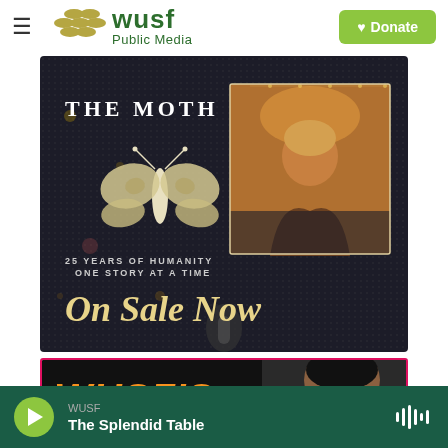[Figure (logo): WUSF Public Media logo with hamburger menu icon on left side]
[Figure (photo): The Moth advertisement: dark background with moth illustration, text '25 YEARS OF HUMANITY ONE STORY AT A TIME', photo of person from behind at microphone, large text 'On Sale Now']
[Figure (photo): WUSF's advertisement banner with orange bold italic text 'WUSF'S' and a person's face on right side, magenta/pink border]
WUSF | The Splendid Table